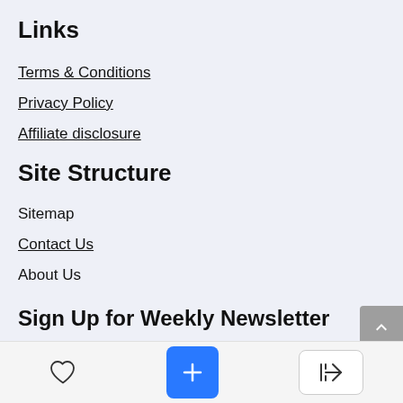Links
Terms & Conditions
Privacy Policy
Affiliate disclosure
Site Structure
Sitemap
Contact Us
About Us
Sign Up for Weekly Newsletter
[Figure (other): Scroll-to-top button with upward chevron arrow, gray background]
[Figure (other): Bottom navigation toolbar with heart icon, blue plus button, and login/arrow button]